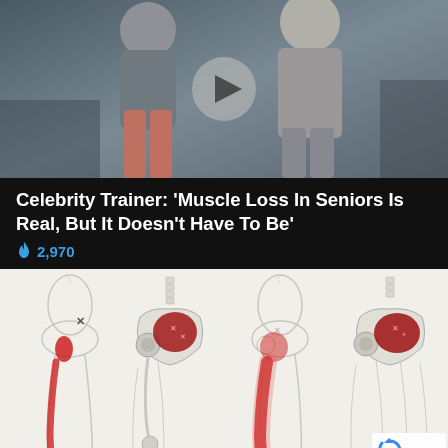[Figure (photo): Two fitness models in a gym setting — a woman in workout attire on the left and a muscular shirtless older man on the right, with a semi-transparent play button overlay in the center, indicating a video thumbnail]
Celebrity Trainer: 'Muscle Loss In Seniors Is Real, But It Doesn't Have To Be'
🔥 2,970
[Figure (illustration): Medical anatomy illustration showing four views of lower body/hip/leg musculature with highlighted red pain or muscle areas — two views showing the back of the pelvis and leg with red highlighted muscle regions, and two views showing detailed skeletal/joint anatomy of the hip area with red highlighted regions]